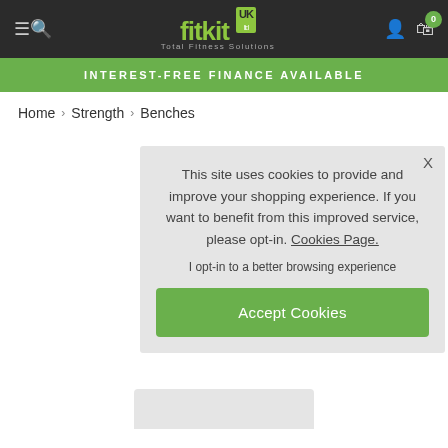fitkit UK ltd - Total Fitness Solutions | Navigation: menu, search, account, cart (0)
INTEREST-FREE FINANCE AVAILABLE
Home › Strength › Benches
This site uses cookies to provide and improve your shopping experience. If you want to benefit from this improved service, please opt-in. Cookies Page.
I opt-in to a better browsing experience
Accept Cookies